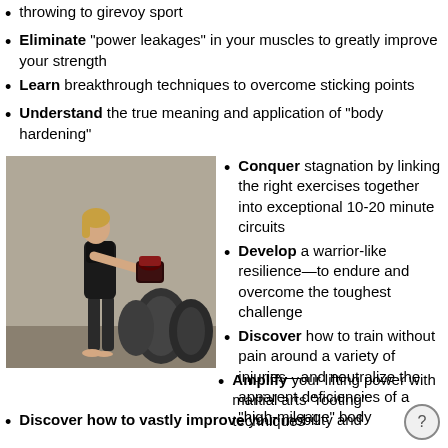throwing to girevoy sport
Eliminate "power leakages" in your muscles to greatly improve your strength
Learn breakthrough techniques to overcome sticking points
Understand the true meaning and application of "body hardening"
[Figure (photo): Woman in athletic wear performing a kettlebell swing exercise in a gym with weight plates in background]
Conquer stagnation by linking the right exercises together into exceptional 10-20 minute circuits
Develop a warrior-like resilience—to endure and overcome the toughest challenge
Discover how to train without pain around a variety of injuries—and neutralize the apparent deficiencies of a "high-mileage" body
Amplify your lifting power with martial arts "rooting" techniques
Discover how to vastly improve your mobility and